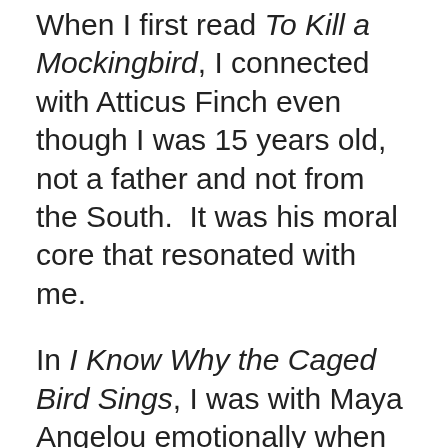When I first read To Kill a Mockingbird, I connected with Atticus Finch even though I was 15 years old, not a father and not from the South.  It was his moral core that resonated with me.
In I Know Why the Caged Bird Sings, I was with Maya Angelou emotionally when she described the pain she felt when a dentist refused to treat her because she was black even though I am not